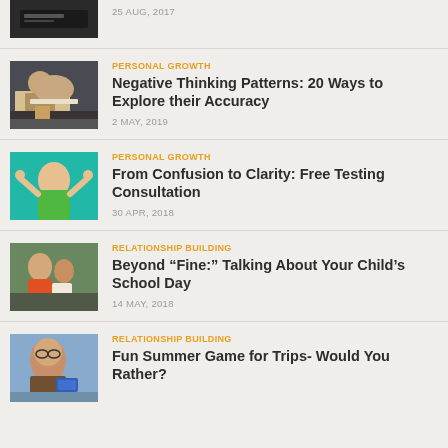[Figure (photo): Dark themed thumbnail image, partial view at top]
25 AUG, 2017
[Figure (photo): Person with head down on desk, looking stressed]
PERSONAL GROWTH
Negative Thinking Patterns: 20 Ways to Explore their Accuracy
2 MAY, 2019
[Figure (photo): Person in teal shirt with arms raised in excitement against teal background]
PERSONAL GROWTH
From Confusion to Clarity: Free Testing Consultation
30 APR, 2018
[Figure (photo): Two people smiling together outdoors]
RELATIONSHIP BUILDING
Beyond “Fine:” Talking About Your Child’s School Day
14 MAY, 2018
[Figure (photo): Woman with glasses holding a card, looking thoughtful]
RELATIONSHIP BUILDING
Fun Summer Game for Trips- Would You Rather?